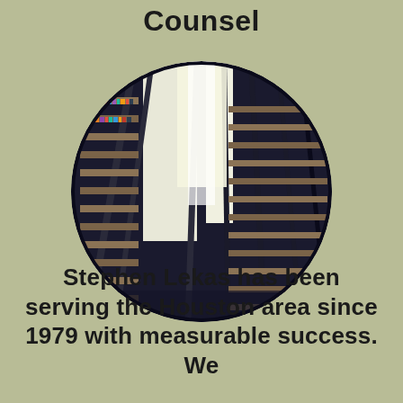Counsel
[Figure (photo): Circular photo of a large library interior with curved bookshelves filled with books, viewed from below looking up, with skylights above]
Stephen Lekas has been serving the Houston area since 1979 with measurable success. We